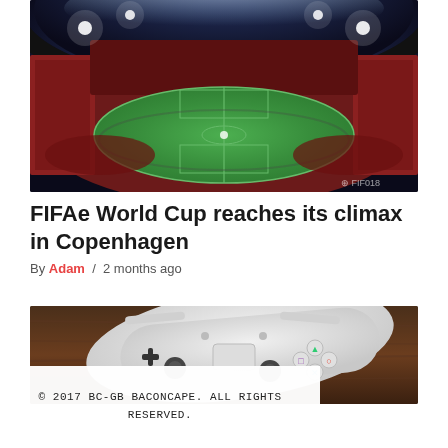[Figure (photo): Aerial view of a large illuminated football stadium filled with crowds at night, green pitch visible in center, camera lens effect with circular distortion]
FIFAe World Cup reaches its climax in Copenhagen
By Adam / 2 months ago
[Figure (photo): White PlayStation DualShock controller resting on a wooden surface, buttons and analog sticks visible]
© 2017 BC-GB BACONCAPE. ALL RIGHTS RESERVED.